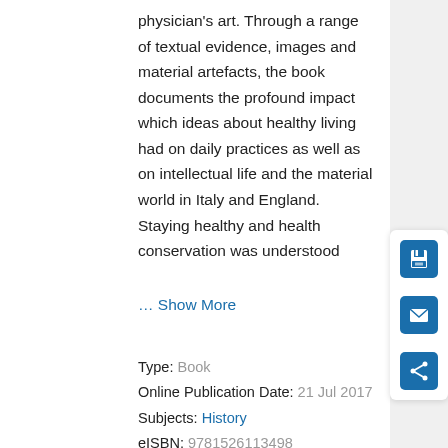physician's art. Through a range of textual evidence, images and material artefacts, the book documents the profound impact which ideas about healthy living had on daily practices as well as on intellectual life and the material world in Italy and England. Staying healthy and health conservation was understood
… Show More
Type: Book
Online Publication Date: 21 Jul 2017
Subjects: History
eISBN: 9781526113498
[Figure (other): Sidebar with three icon buttons: save (floppy disk), email (envelope), and share (share icon), all in blue on white background]